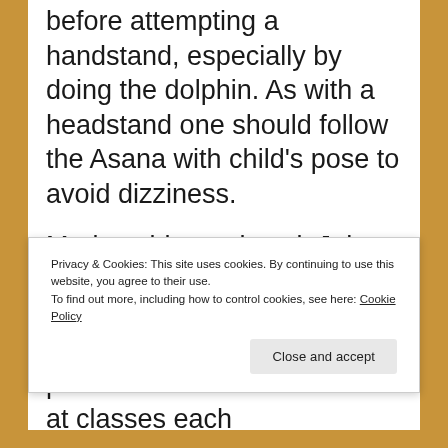before attempting a handstand, especially by doing the dolphin. As with a headstand one should follow the Asana with child's pose to avoid dizziness.
Maria said, good work John and my satisfaction was immense. That is how I got my handstand back. Now I practice the handstand twice at classes each
Privacy & Cookies: This site uses cookies. By continuing to use this website, you agree to their use.
To find out more, including how to control cookies, see here: Cookie Policy
Close and accept